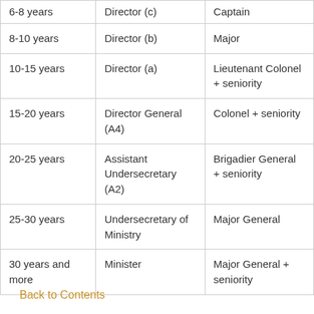| Experience | Civil Rank | Military Rank |
| --- | --- | --- |
| 6-8 years | Director (c) | Captain |
| 8-10 years | Director (b) | Major |
| 10-15 years | Director (a) | Lieutenant Colonel + seniority |
| 15-20 years | Director General (A4) | Colonel + seniority |
| 20-25 years | Assistant Undersecretary (A2) | Brigadier General + seniority |
| 25-30 years | Undersecretary of Ministry | Major General |
| 30 years and more | Minister | Major General + seniority |
Back to Contents